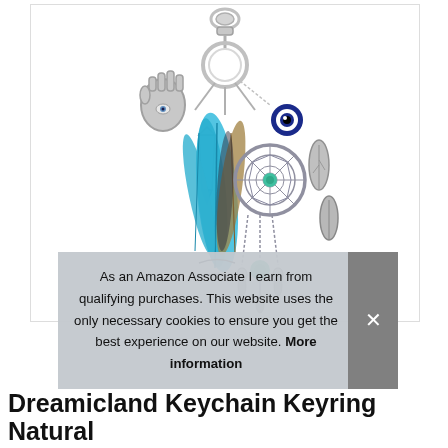[Figure (photo): Product photo of a Dreamicland keychain/keyring charm featuring a dreamcatcher, blue feathers, hamsa hand charm, evil eye bead, crystal/opalite point, and silver leaf charms, all hanging from a silver lobster clasp and key ring, on a white background.]
As an Amazon Associate I earn from qualifying purchases. This website uses the only necessary cookies to ensure you get the best experience on our website. More information
Dreamicland Keychain Keyring Natural